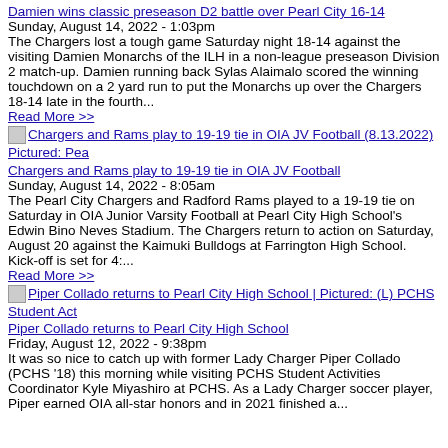Damien wins classic preseason D2 battle over Pearl City 16-14
Sunday, August 14, 2022 - 1:03pm
The Chargers lost a tough game Saturday night 18-14 against the visiting Damien Monarchs of the ILH in a non-league preseason Division 2 match-up. Damien running back Sylas Alaimalo scored the winning touchdown on a 2 yard run to put the Monarchs up over the Chargers 18-14 late in the fourth...
Read More >>
[Figure (photo): Thumbnail image for Chargers and Rams play to 19-19 tie in OIA JV Football (8.13.2022) Pictured: Pea]
Chargers and Rams play to 19-19 tie in OIA JV Football
Sunday, August 14, 2022 - 8:05am
The Pearl City Chargers and Radford Rams played to a 19-19 tie on Saturday in OIA Junior Varsity Football at Pearl City High School's Edwin Bino Neves Stadium. The Chargers return to action on Saturday, August 20 against the Kaimuki Bulldogs at Farrington High School. Kick-off is set for 4:...
Read More >>
[Figure (photo): Thumbnail image for Piper Collado returns to Pearl City High School | Pictured: (L) PCHS Student Act]
Piper Collado returns to Pearl City High School
Friday, August 12, 2022 - 9:38pm
It was so nice to catch up with former Lady Charger Piper Collado (PCHS '18) this morning while visiting PCHS Student Activities Coordinator Kyle Miyashiro at PCHS. As a Lady Charger soccer player, Piper earned OIA all-star honors and in 2021 finished a...